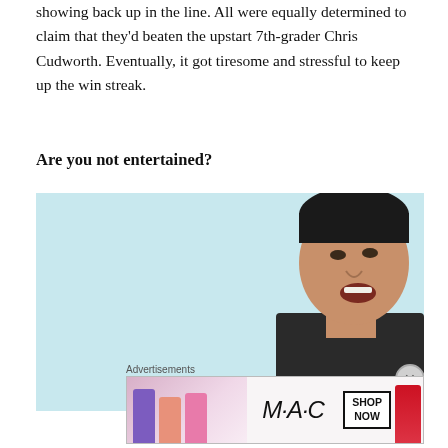showing back up in the line. All were equally determined to claim that they'd beaten the upstart 7th-grader Chris Cudworth. Eventually, it got tiresome and stressful to keep up the win streak.
Are you not entertained?
[Figure (photo): A man with short dark hair, mouth open as if shouting or cheering, wearing a dark top, photographed against a light blue sky background. The image is partially cropped.]
Advertisements
[Figure (other): MAC cosmetics advertisement showing lipsticks in purple, peach/salmon, and pink colors on the left, the MAC logo in the center, a SHOP NOW button, and a red lipstick on the right.]